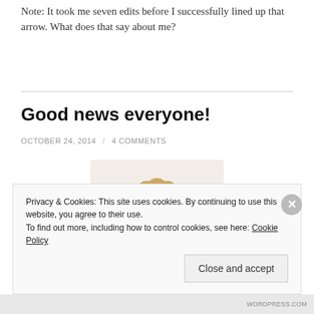Note: It took me seven edits before I successfully lined up that arrow.  What does that say about me?
Good news everyone!
OCTOBER 24, 2014 / 4 COMMENTS
[Figure (illustration): Cartoon illustration of Professor Farnsworth from Futurama with arms raised excitedly, wearing lab coat and goggles]
Privacy & Cookies: This site uses cookies. By continuing to use this website, you agree to their use. To find out more, including how to control cookies, see here: Cookie Policy
Close and accept